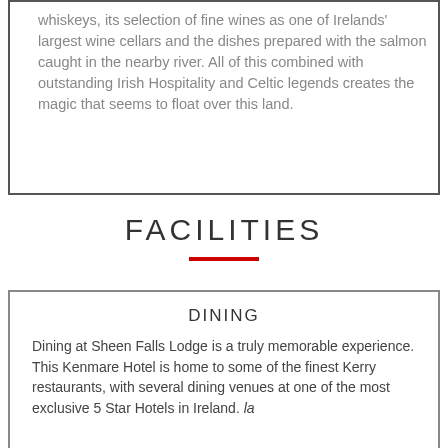whiskeys, its selection of fine wines as one of Irelands' largest wine cellars and the dishes prepared with the salmon caught in the nearby river. All of this combined with outstanding Irish Hospitality and Celtic legends creates the magic that seems to float over this land.
FACILITIES
DINING
Dining at Sheen Falls Lodge is a truly memorable experience. This Kenmare Hotel is home to some of the finest Kerry restaurants, with several dining venues at one of the most exclusive 5 Star Hotels in Ireland. la